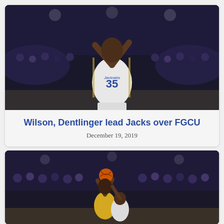[Figure (photo): Basketball player in white Jackrabbits jersey number 35 jumping with arms raised in a crowded arena with purple and blue lighting]
Wilson, Dentlinger lead Jacks over FGCU
December 19, 2019
[Figure (photo): Basketball player in yellow and white uniform shooting the ball during a game in a crowded arena]